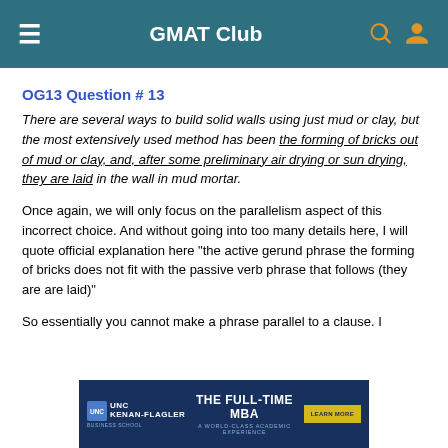GMAT Club
OG13 Question # 13
There are several ways to build solid walls using just mud or clay, but the most extensively used method has been the forming of bricks out of mud or clay, and, after some preliminary air drying or sun drying, they are laid in the wall in mud mortar.
Once again, we will only focus on the parallelism aspect of this incorrect choice. And without going into too many details here, I will quote official explanation here "the active gerund phrase the forming of bricks does not fit with the passive verb phrase that follows (they are are laid)"
So essentially you cannot make a phrase parallel to a clause. I
[Figure (infographic): UNC Kenan-Flagler Business School advertisement banner: THE FULL-TIME MBA, A WORLD-CLASS ACADEMIC EXPERIENCE, LEARN MORE button]